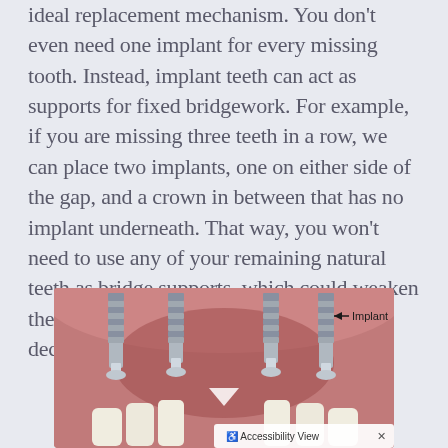ideal replacement mechanism. You don't even need one implant for every missing tooth. Instead, implant teeth can act as supports for fixed bridgework. For example, if you are missing three teeth in a row, we can place two implants, one on either side of the gap, and a crown in between that has no implant underneath. That way, you won't need to use any of your remaining natural teeth as bridge supports, which could weaken them and make them more susceptible to decay.
[Figure (illustration): Medical illustration of dental implants in a jaw, showing multiple implants embedded in gum tissue with metal abutments visible. An arrow pointing left labels one implant as 'Implant'. An accessibility view button is shown at the bottom right of the image.]